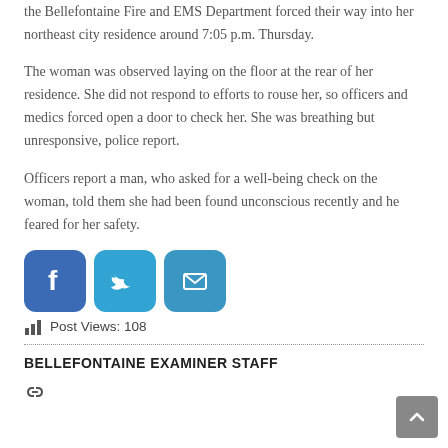the Bellefontaine Fire and EMS Department forced their way into her northeast city residence around 7:05 p.m. Thursday.
The woman was observed laying on the floor at the rear of her residence. She did not respond to efforts to rouse her, so officers and medics forced open a door to check her. She was breathing but unresponsive, police report.
Officers report a man, who asked for a well-being check on the woman, told them she had been found unconscious recently and he feared for her safety.
[Figure (other): Social sharing icons: Facebook (blue square with f logo), Twitter (blue square with bird logo), Email (blue square with envelope icon)]
Post Views: 108
BELLEFONTAINE EXAMINER STAFF
[Figure (other): Link/share icon]